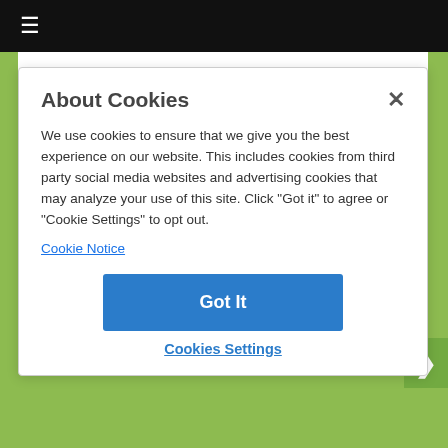≡
their friends' news feeds. This helps drive awareness of your blog through Facebook and can help drive more traffic to your blog.
About Cookies
We use cookies to ensure that we give you the best experience on our website. This includes cookies from third party social media websites and advertising cookies that may analyze your use of this site. Click "Got it" to agree or "Cookie Settings" to opt out.
Cookie Notice
Got It
Cookies Settings